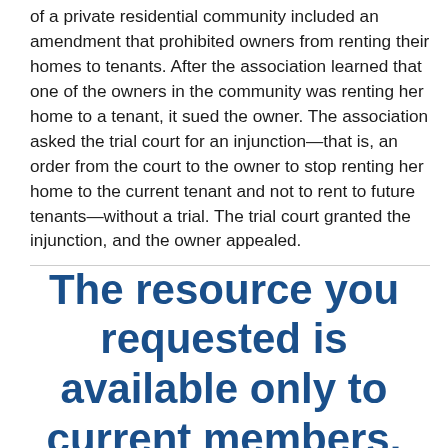of a private residential community included an amendment that prohibited owners from renting their homes to tenants. After the association learned that one of the owners in the community was renting her home to a tenant, it sued the owner. The association asked the trial court for an injunction—that is, an order from the court to the owner to stop renting her home to the current tenant and not to rent to future tenants—without a trial. The trial court granted the injunction, and the owner appealed.
The resource you requested is available only to current members.